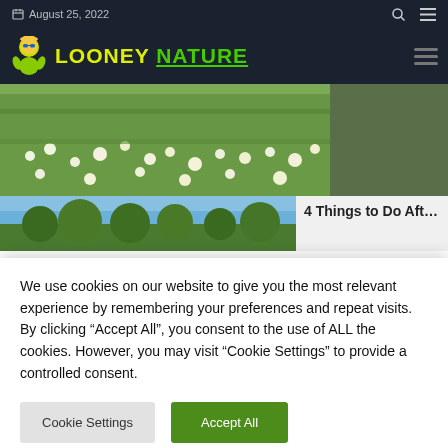August 25, 2022
[Figure (logo): Looney Nature logo with cartoon mascot character wearing sunglasses and green outfit, with stylized text 'LOONEY NATURE' in yellow-green and green colors on dark navy background]
[Figure (photo): Photo of a meadow with white wildflowers and green grass/vegetation]
[Figure (photo): Partial thumbnail photo showing blue sky and trees]
4 Things to Do Aft...
We use cookies on our website to give you the most relevant experience by remembering your preferences and repeat visits. By clicking “Accept All”, you consent to the use of ALL the cookies. However, you may visit “Cookie Settings” to provide a controlled consent.